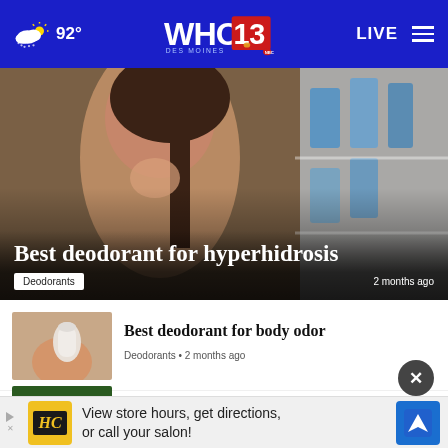WHO 13 Des Moines | 92° | LIVE
[Figure (photo): Woman smiling in a store aisle looking at deodorant products]
Best deodorant for hyperhidrosis
Deodorants  2 months ago
[Figure (photo): Person applying deodorant stick - thumbnail for best deodorant for body odor article]
Best deodorant for body odor
Deodorants • 2 months ago
[Figure (photo): Coconut oil and tropical plant - thumbnail for Best Kopari product article]
Best Kopari product
Deodorants • 5 months ago
Best aluminum-free deodorant
[Figure (screenshot): Advertisement banner: HC salon - View store hours, get directions, or call your salon!]